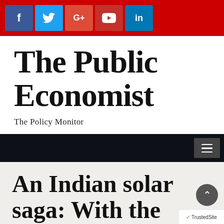[Figure (other): Red top bar with social media icon buttons: Facebook (blue), Twitter (light blue), Google+ (red-orange), YouTube (red), LinkedIn (blue)]
The Public Economist
The Policy Monitor
[Figure (other): Dark navigation bar with hamburger menu button on the right]
An Indian solar saga: With the right policies, India can be a world leader in solar